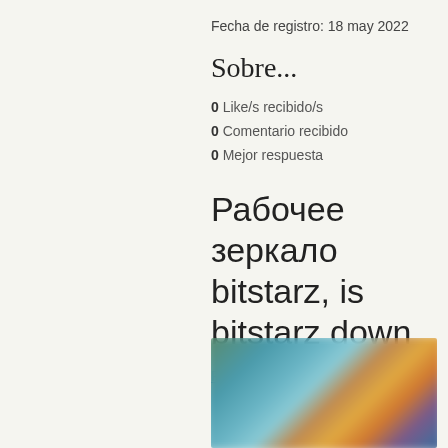Fecha de registro: 18 may 2022
Sobre...
0 Like/s recibido/s
0 Comentario recibido
0 Mejor respuesta
Рабочее зеркало bitstarz, is bitstarz down
Рабочее зеркало bitstarz
[Figure (photo): Blurred screenshot of a gaming or casino website with colorful characters and interface elements]